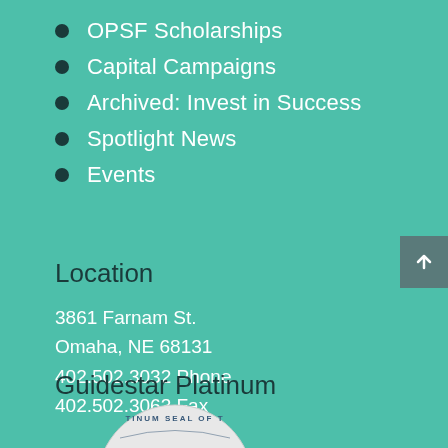OPSF Scholarships
Capital Campaigns
Archived: Invest in Success
Spotlight News
Events
Location
3861 Farnam St.
Omaha, NE 68131
402.502.3032 Phone
402.502.3063 Fax
Guidestar Platinum
[Figure (illustration): Partial view of a circular Platinum Seal of transparency/trust badge]